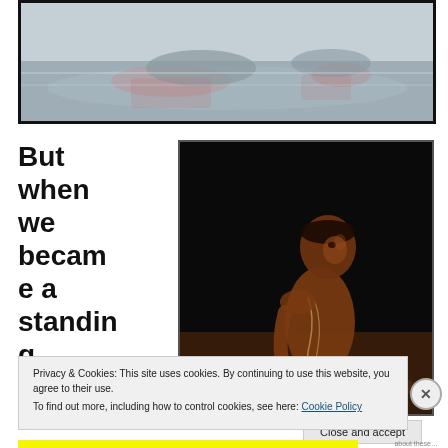[Figure (photo): Top photo showing animals (hippos or similar) partially submerged in water with pinkish reflections, framed with a black border]
But when we became a standin g...
[Figure (photo): Dark-background photo of a reconstructed early human (hominid) female figure, seated, with body paint, looking towards camera]
Privacy & Cookies: This site uses cookies. By continuing to use this website, you agree to their use.
To find out more, including how to control cookies, see here: Cookie Policy
Close and accept